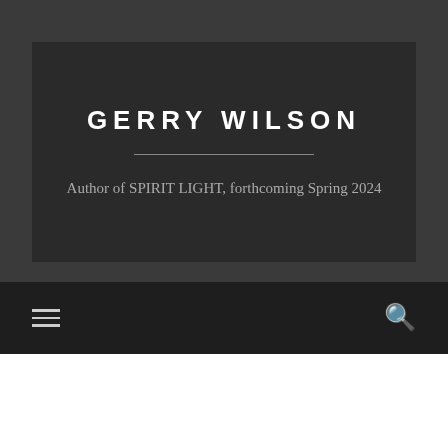GERRY WILSON
Author of SPIRIT LIGHT, forthcoming Spring 2024
About